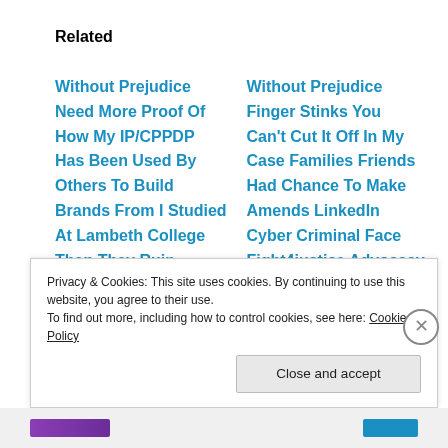Related
Without Prejudice
Need More Proof Of
How My IP/CPPDP
Has Been Used By
Others To Build
Brands From I Studied
At Lambeth College
Then They Ruin
Without Prejudice
Finger Stinks You
Can't Cut It Off In My
Case Families Friends
Had Chance To Make
Amends LinkedIn
Cyber Criminal Face
Fight4justice Advocacy
Privacy & Cookies: This site uses cookies. By continuing to use this website, you agree to their use.
To find out more, including how to control cookies, see here: Cookie Policy
Close and accept